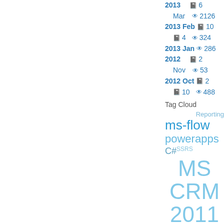2013  📓 6
Mar  👁 2126
2013 Feb 📓 10
📓 4  👁 324
2013 Jan 👁 286
2012  📓 2
Nov  👁 53
2012 Oct 📓 2
📓 10  👁 488
Tag Cloud
Reporting
ms-flow
powerapps
C# SSRS
MS CRM 2011